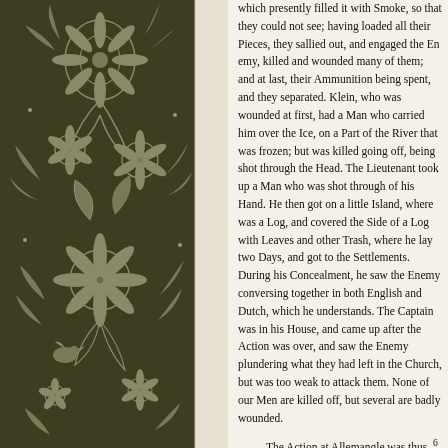[Figure (illustration): Decorative floral/paisley border pattern on dark olive-brown background with grey/silver botanical motifs including flowers, leaves, and scrollwork]
which presently filled it with Smoke, so that they could not see; having loaded all their Pieces, they sallied out, and engaged the Enemy, killed and wounded many of them; and at last, their Ammunition being spent, they were obliged to disperse, and they separated. Klein, who was wounded at first, had a Man who carried him over the Ice, on a Part of the River that was frozen; but was killed going off, being shot through the Head. The Lieutenant took up a Man who was shot through the Hand. He then got on a little Island, where was a Log, and covered the Side of a Log with Leaves and other Trash, where he lay two Days, and got to the Settlements. During his Concealment, he saw the Enemy conversing together in both English and Dutch, which he understands. The Captain was in his House, and came up after the Action was over, and saw the Enemy plundering what they had left in the Church, but was too weak to attack them. None of our Men are killed off, but several are badly wounded.
    The Action at Allemangle was thus. 6 Three Men of that Township were used now and then to go to the Top of the Mountain, to see if the Houses below they were burnt, or yet standing. On Saturday last they went again, and came a little nearer, saw two Indians standing Centry, a Number more about them; gave the Watch of two Townships, who assembled the next Morning, and marched over the Hill, and divided into two Parties, to surround them; but before one of our Men fell, and his Gun going off, alarm'd the Indians, who immediately fled; when one of our Parties came up, fired and wounded some, who went into the Swamp, engaged them, and killed several. But our other Party came too late to the Engagement; and three straggling Indians coming